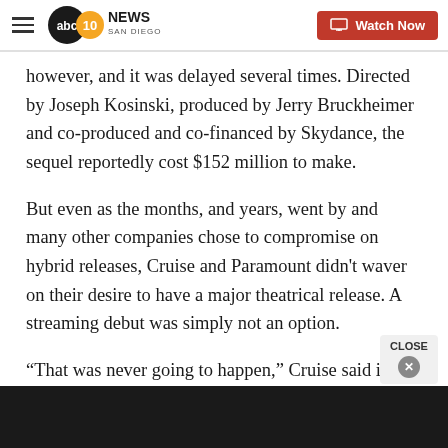ABC 10News San Diego — Watch Now
however, and it was delayed several times. Directed by Joseph Kosinski, produced by Jerry Bruckheimer and co-produced and co-financed by Skydance, the sequel reportedly cost $152 million to make.
But even as the months, and years, went by and many other companies chose to compromise on hybrid releases, Cruise and Paramount didn't waver on their desire to have a major theatrical release. A streaming debut was simply not an option.
“That was never going to happen,” Cruise said in